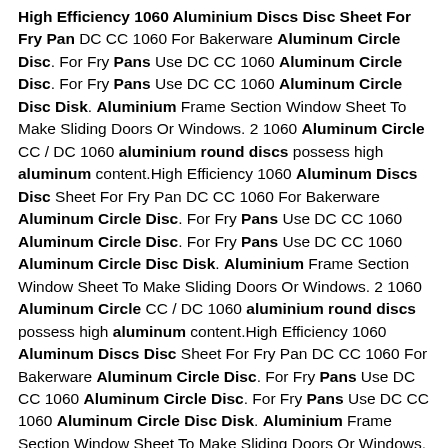High Efficiency 1060 Aluminium Discs Disc Sheet For Fry Pan DC CC 1060 For Bakerware Aluminum Circle Disc. For Fry Pans Use DC CC 1060 Aluminum Circle Disc. For Fry Pans Use DC CC 1060 Aluminum Circle Disc Disk. Aluminium Frame Section Window Sheet To Make Sliding Doors Or Windows. 2 1060 Aluminum Circle CC / DC 1060 aluminium round discs possess high aluminum content.High Efficiency 1060 Aluminum Discs Disc Sheet For Fry Pan DC CC 1060 For Bakerware Aluminum Circle Disc. For Fry Pans Use DC CC 1060 Aluminum Circle Disc. For Fry Pans Use DC CC 1060 Aluminum Circle Disc Disk. Aluminium Frame Section Window Sheet To Make Sliding Doors Or Windows. 2 1060 Aluminum Circle CC / DC 1060 aluminium round discs possess high aluminum content.High Efficiency 1060 Aluminum Discs Disc Sheet For Fry Pan DC CC 1060 For Bakerware Aluminum Circle Disc. For Fry Pans Use DC CC 1060 Aluminum Circle Disc. For Fry Pans Use DC CC 1060 Aluminum Circle Disc Disk. Aluminium Frame Section Window Sheet To Make Sliding Doors Or Windows. 2 1060 Aluminum Circle CC / DC 1060 aluminium round discs possess high aluminum content.
High Strength Deep Drawn Aluminum Round Circle Anodizing High quality High Strength Deep Drawn Aluminum Round Circle Anodizing For Fat Fryers from China, China's leading aluminium